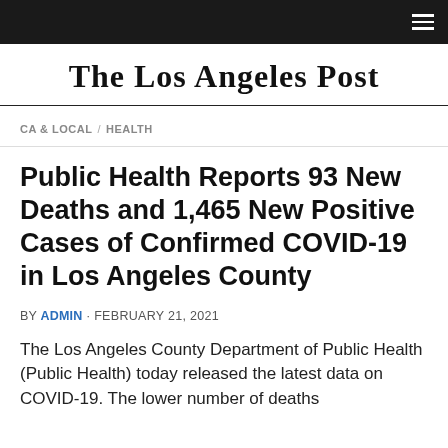The Los Angeles Post
CA & LOCAL / HEALTH
Public Health Reports 93 New Deaths and 1,465 New Positive Cases of Confirmed COVID-19 in Los Angeles County
BY ADMIN · FEBRUARY 21, 2021
The Los Angeles County Department of Public Health (Public Health) today released the latest data on COVID-19. The lower number of deaths